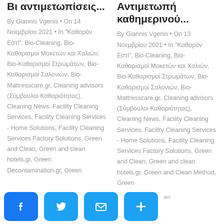Βι αντιμετωπίσεις...
By Giannis Vgenis • On 14 Νοεμβρίου 2021 • In "Καθαρόν Εστί", Bio-Cleaning, Bio-Καθαρισμοί Μοκετών και Χαλιών, Βιο-Καθαρισμοί Στρωμάτων, Bio-Καθαρισμοί Σαλονιών, Bio-Mattresscare.gr, Cleaning advisors (Σύμβουλοι Καθαριότητας), Cleaning News, Facility Cleaning Services, Facility Cleaning Services - Home Solutions, Facility Cleaning Services Factory Solutions, Green and Clean, Green and clean hotels.gr, Green and Clean Decontamination.gr, Green
Αντιμετωπή καθημερινού...
By Giannis Vgenis • On 13 Νοεμβρίου 2021 • In "Καθαρόν Εστί", Bio-Cleaning, Bio-Καθαρισμοί Μοκετών και Χαλιών, Βιο-Καθαρισμοί Στρωμάτων, Bio-Καθαρισμοί Σαλονιών, Bio-Mattresscare.gr, Cleaning advisors (Σύμβουλοι Καθαριότητας), Cleaning News, Facility Cleaning Services, Facility Cleaning Services - Home Solutions, Facility Cleaning Services Factory Solutions, Green and Clean, Green and clean hotels.gr, Green and Clean Method, Green